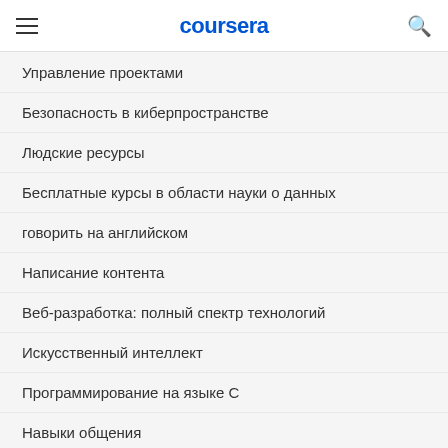coursera
Управление проектами
Безопасность в киберпространстве
Людские ресурсы
Бесплатные курсы в области науки о данных
говорить на английском
Написание контента
Веб-разработка: полный спектр технологий
Искусственный интеллект
Программирование на языке C
Навыки общения
Блокчейн
Просмотреть все курсы